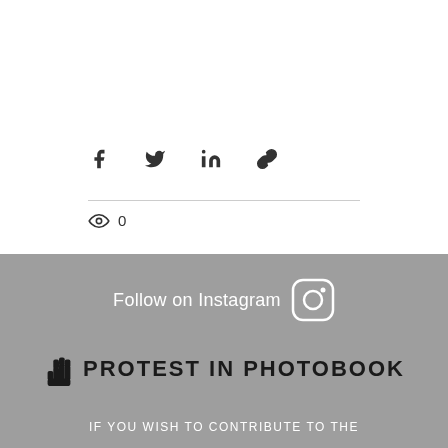[Figure (infographic): Social share icons: Facebook, Twitter, LinkedIn, and link/copy icons in dark gray]
0
[Figure (infographic): Gray banner with Follow on Instagram text and Instagram icon logo, Protest in Photobook logo with raised fist icon, and text IF YOU WISH TO CONTRIBUTE TO THE]